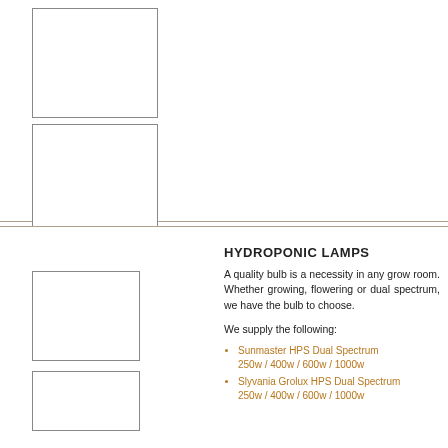[Figure (photo): Product image placeholder box 1 (top section, upper)]
[Figure (photo): Product image placeholder box 2 (top section, lower)]
[Figure (photo): Product image placeholder box 3 (bottom section, upper)]
[Figure (photo): Product image placeholder box 4 (bottom section, lower)]
HYDROPONIC LAMPS
A quality bulb is a necessity in any grow room. Whether growing, flowering or dual spectrum, we have the bulb to choose.
We supply the following:
Sunmaster HPS Dual Spectrum 250w / 400w / 600w / 1000w
Slyvania Grolux HPS Dual Spectrum 250w / 400w / 600w / 1000w